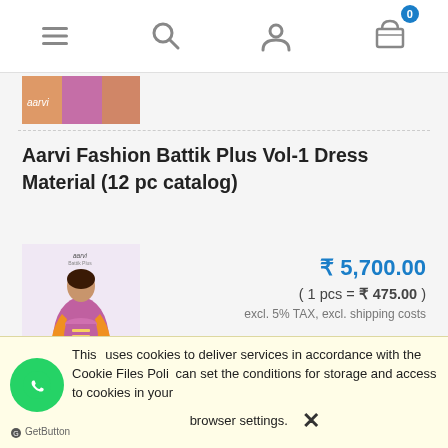Navigation bar with menu, search, user, and cart (0) icons
[Figure (photo): Small horizontal product thumbnail strip showing colorful fabric dress material]
Aarvi Fashion Battik Plus Vol-1 Dress Material (12 pc catalog)
[Figure (photo): Product photo of Aarvi Fashion Battik Plus Vol-1 Dress Material showing a woman in a pink/purple embroidered salwar suit with orange dupatta]
₹ 5,700.00
( 1 pcs = ₹ 475.00 )
excl. 5% TAX, excl. shipping costs
This uses cookies to deliver services in accordance with the Cookie Files Policy. You can set the conditions for storage and access to cookies in your browser settings.